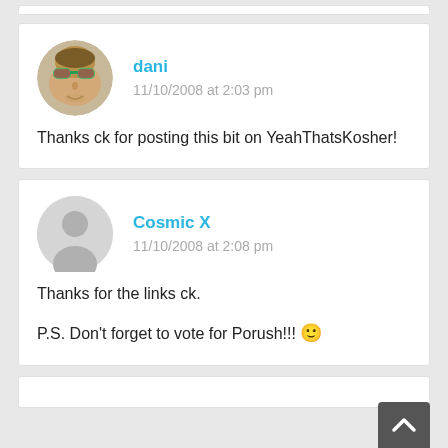[Figure (photo): Circular avatar photo of user 'dani' — a man wearing green sunglasses, outdoors]
dani
11/10/2008 at 2:03 pm
Thanks ck for posting this bit on YeahThatsKosher!
[Figure (illustration): Circular gray placeholder avatar icon for user 'Cosmic X']
Cosmic X
11/10/2008 at 2:08 pm
Thanks for the links ck.

P.S. Don't forget to vote for Porush!!! 🙂
[Figure (other): Dark gray back-to-top button with up arrow chevron, bottom right corner]